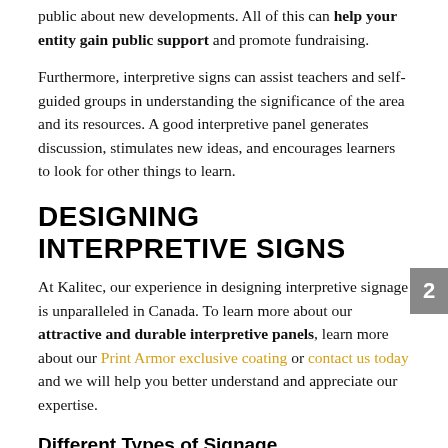public about new developments. All of this can help your entity gain public support and promote fundraising.
Furthermore, interpretive signs can assist teachers and self-guided groups in understanding the significance of the area and its resources. A good interpretive panel generates discussion, stimulates new ideas, and encourages learners to look for other things to learn.
DESIGNING INTERPRETIVE SIGNS
At Kalitec, our experience in designing interpretive signage is unparalleled in Canada. To learn more about our attractive and durable interpretive panels, learn more about our Print Armor exclusive coating or contact us today and we will help you better understand and appreciate our expertise.
Different Types of Signage
Interpretive signs can be made out of a variety of